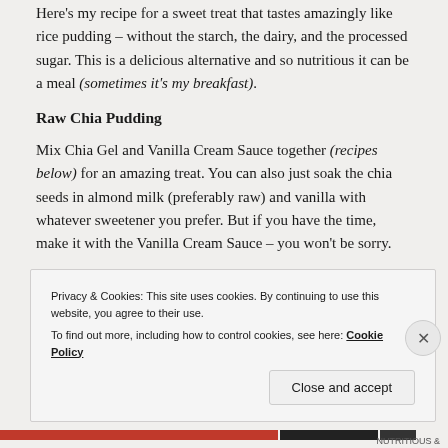Here's my recipe for a sweet treat that tastes amazingly like rice pudding – without the starch, the dairy, and the processed sugar. This is a delicious alternative and so nutritious it can be a meal (sometimes it's my breakfast).
Raw Chia Pudding
Mix Chia Gel and Vanilla Cream Sauce together (recipes below) for an amazing treat. You can also just soak the chia seeds in almond milk (preferably raw) and vanilla with whatever sweetener you prefer. But if you have the time, make it with the Vanilla Cream Sauce – you won't be sorry.
Chia Gel
Privacy & Cookies: This site uses cookies. By continuing to use this website, you agree to their use.
To find out more, including how to control cookies, see here: Cookie Policy
Close and accept